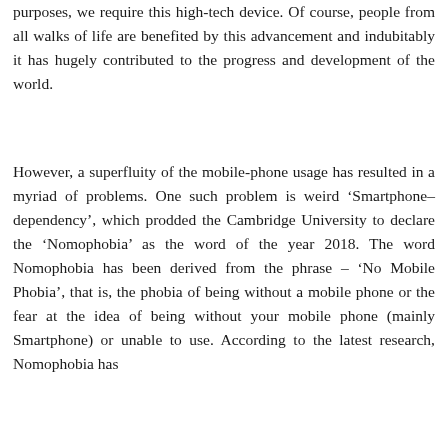purposes, we require this high-tech device. Of course, people from all walks of life are benefited by this advancement and indubitably it has hugely contributed to the progress and development of the world.
However, a superfluity of the mobile-phone usage has resulted in a myriad of problems. One such problem is weird ‘Smartphone– dependency’, which prodded the Cambridge University to declare the ‘Nomophobia’ as the word of the year 2018. The word Nomophobia has been derived from the phrase – ‘No Mobile Phobia’, that is, the phobia of being without a mobile phone or the fear at the idea of being without your mobile phone (mainly Smartphone) or unable to use. According to the latest research, Nomophobia has